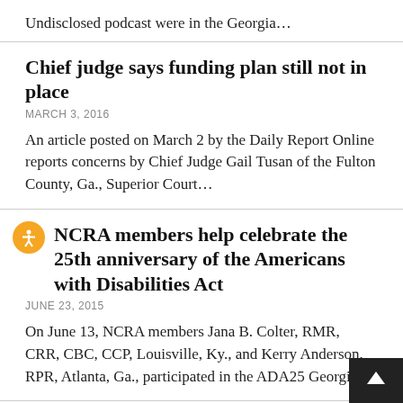Undisclosed podcast were in the Georgia…
Chief judge says funding plan still not in place
MARCH 3, 2016
An article posted on March 2 by the Daily Report Online reports concerns by Chief Judge Gail Tusan of the Fulton County, Ga., Superior Court…
NCRA members help celebrate the 25th anniversary of the Americans with Disabilities Act
JUNE 23, 2015
On June 13, NCRA members Jana B. Colter, RMR, CRR, CBC, CCP, Louisville, Ky., and Kerry Anderson, RPR, Atlanta, Ga., participated in the ADA25 Georgia…
Lawyer loses bid for free transcript copy, promises appeal
APRIL 28, 2015